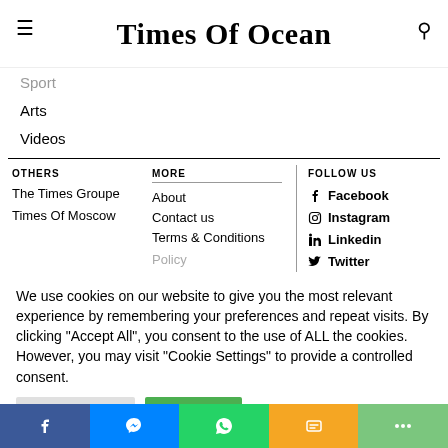Times Of Ocean
Sport
Arts
Videos
OTHERS
The Times Groupe
Times Of Moscow
MORE
About
Contact us
Terms & Conditions
Policy
FOLLOW US
Facebook
Instagram
Linkedin
Twitter
We use cookies on our website to give you the most relevant experience by remembering your preferences and repeat visits. By clicking “Accept All”, you consent to the use of ALL the cookies. However, you may visit “Cookie Settings” to provide a controlled consent.